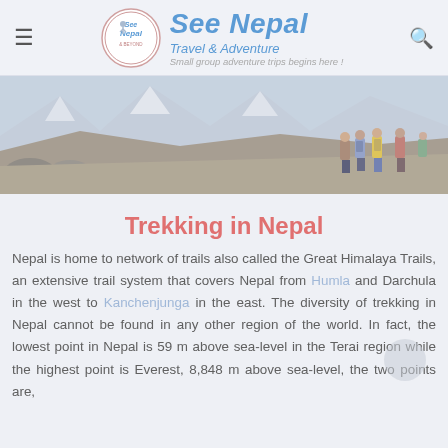See Nepal — Travel & Adventure — Small group adventure trips begins here!
[Figure (photo): Group of trekkers hiking on a rocky mountain trail in Nepal, with snow-capped peaks visible in the background. The scene shows hikers wearing colorful winter gear against a rugged alpine landscape.]
Trekking in Nepal
Nepal is home to network of trails also called the Great Himalaya Trails, an extensive trail system that covers Nepal from Humla and Darchula in the west to Kanchenjunga in the east. The diversity of trekking in Nepal cannot be found in any other region of the world. In fact, the lowest point in Nepal is 59 m above sea-level in the Terai region while the highest point is Everest, 8,848 m above sea-level, the two points are,